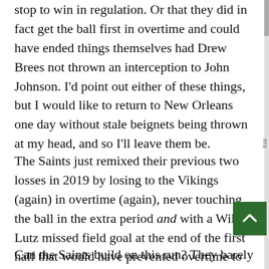stop to win in regulation. Or that they did in fact get the ball first in overtime and could have ended things themselves had Drew Brees not thrown an interception to John Johnson. I'd point out either of these things, but I would like to return to New Orleans one day without stale beignets being thrown at my head, and so I'll leave them be.
The Saints just remixed their previous two losses in 2019 by losing to the Vikings (again) in overtime (again), never touching the ball in the extra period and with a Wil Lutz missed field goal at the end of the first half that would have prevented overtime to begin with. By comparison, simply blowing a third-quarter lead against the Buccaneers in the 2020 divisional round seems downright quaint and trouble-free.
Can the Saints build on this run? They barely squeaked out 15.3 heartbreak points last year at 9-8